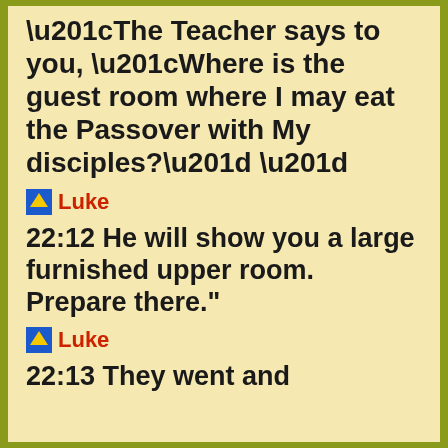“The Teacher says to you, “Where is the guest room where I may eat the Passover with My disciples?” ”
Luke
22:12 He will show you a large furnished upper room. Prepare there.”
Luke
22:13 They went and